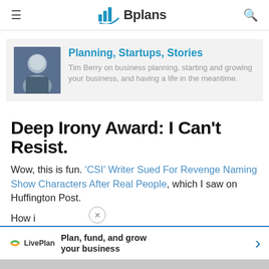≡  Bplans  🔍
[Figure (screenshot): Bplans blog banner with author photo and blog title 'Planning, Startups, Stories' by Tim Berry]
Deep Irony Award: I Can't Resist.
Wow, this is fun. 'CSI' Writer Sued For Revenge Naming Show Characters After Real People, which I saw on Huffington Post.
How i...
[Figure (screenshot): LivePlan advertisement bar: 'Plan, fund, and grow your business']